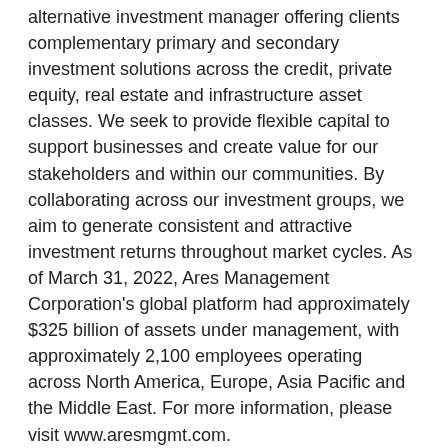alternative investment manager offering clients complementary primary and secondary investment solutions across the credit, private equity, real estate and infrastructure asset classes. We seek to provide flexible capital to support businesses and create value for our stakeholders and within our communities. By collaborating across our investment groups, we aim to generate consistent and attractive investment returns throughout market cycles. As of March 31, 2022, Ares Management Corporation's global platform had approximately $325 billion of assets under management, with approximately 2,100 employees operating across North America, Europe, Asia Pacific and the Middle East. For more information, please visit www.aresmgmt.com.
About Onex
Onex is an investor and asset manager that invests capital on behalf of Onex shareholders and clients across the globe. Formed in 1984, we have a long track record of creating value for our clients and shareholders. Onex' two primary businesses are Private Equity and Credit. In Private Equity, we raise funds from third-party